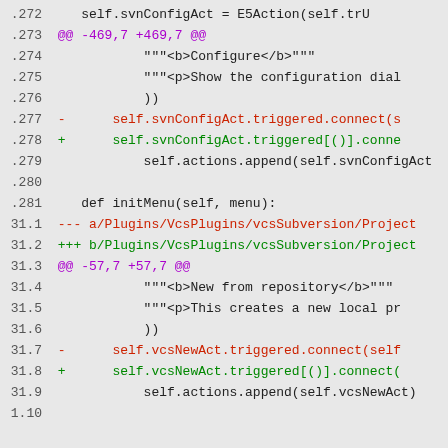Code diff showing changes to VcsPlugins/vcsSubversion plugin files, lines 272-281 and 31.1-1.10
.272    self.svnConfigAct = E5Action(self.tru
.273 @@ -469,7 +469,7 @@
.274        """<b>Configure</b>"""
.275        """<p>Show the configuration dial
.276        ))
.277 -      self.svnConfigAct.triggered.connect(s
.278 +      self.svnConfigAct.triggered[()].conne
.279        self.actions.append(self.svnConfigAct
.280
.281    def initMenu(self, menu):
31.1 --- a/Plugins/VcsPlugins/vcsSubversion/Project
31.2 +++ b/Plugins/VcsPlugins/vcsSubversion/Project
31.3 @@ -57,7 +57,7 @@
31.4        """<b>New from repository</b>"""
31.5        """<p>This creates a new local pr
31.6        ))
31.7 -      self.vcsNewAct.triggered.connect(self
31.8 +      self.vcsNewAct.triggered[()].connect(
31.9        self.actions.append(self.vcsNewAct)
1.10